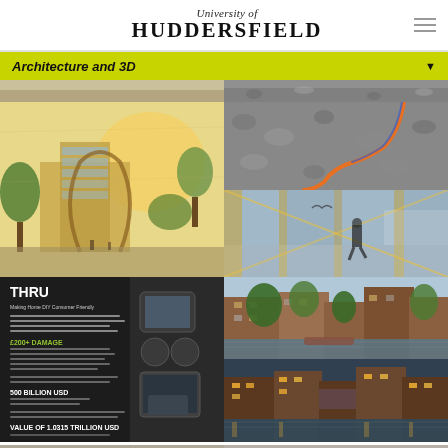University of Huddersfield
Architecture and 3D
[Figure (photo): Architectural sketch/render of a modern building with trees and curved structures, warm toned]
[Figure (photo): Top portion of gravel/texture surface, partially visible]
[Figure (photo): Gravel ground surface with orange cord/cable]
[Figure (photo): 3D interior render with reflective surfaces, yellow/orange lines, person walking]
[Figure (infographic): THRU infographic - Making Home DIY Consumer Friendly, showing stats about damage costs and market value]
[Figure (photo): Architectural render of canal-side buildings with trees, daytime]
[Figure (photo): Architectural render of canal-side buildings at dusk/evening]
[Figure (photo): Partial bottom image of textured/stone surface]